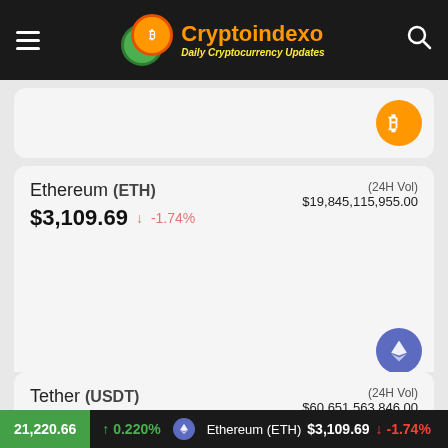Cryptoindexo - Daily Cryptocurrency Updates
[Figure (screenshot): Bitcoin (BTC) card partially visible at top with orange Bitcoin icon]
Ethereum (ETH)
$3,109.69 ↓ -1.74%
(24H Vol) $19,845,115,955.00
Tether (USDT)
$0.999 ↓ -0.34%
(24H Vol) $60,651,563,846.00
21,220.66 ↑ 0.220% Ethereum (ETH) $3,109.69 ↓ -1.74%